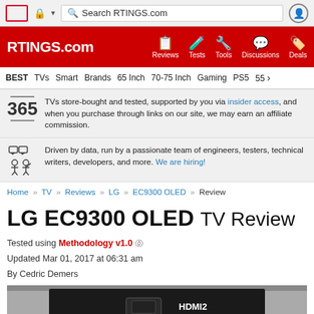Search RTINGS.com
RTINGS.com | Reviews | Tests | Tools | Discussions | Deals
BEST TVs Smart Brands 65 Inch 70-75 Inch Gaming PS5 55>
365 TVs store-bought and tested, supported by you via insider access, and when you purchase through links on our site, we may earn an affiliate commission.
Driven by data, run by a passionate team of engineers, testers, technical writers, developers, and more. We are hiring!
Home » TV » Reviews » LG » EC9300 OLED » Review
LG EC9300 OLED TV Review
Tested using Methodology v1.0 ⑦
Updated Mar 01, 2017 at 06:31 am
By Cedric Demers
[Figure (photo): Bottom portion of LG EC9300 OLED TV showing HDMI2 port label]